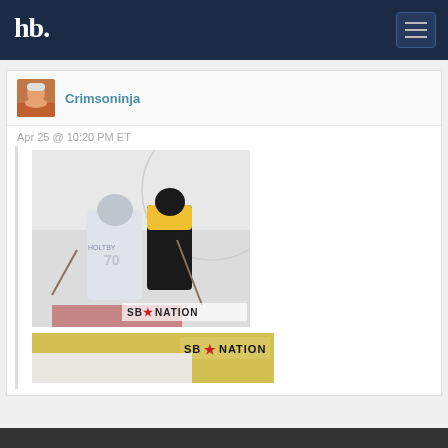hb [logo] — navigation bar with hamburger menu
Crimsoninja
Apr 25 @ 10:20 PM ET
[Figure (photo): Hockey game photo showing player #70 (Holtby) in white Capitals uniform and a Bruins player in black-and-gold uniform on the ice, with SB Nation watermark in bottom right]
[Figure (photo): Partial hockey photo with SB Nation logo visible in upper right, yellow background visible, partially cut off at bottom of page]